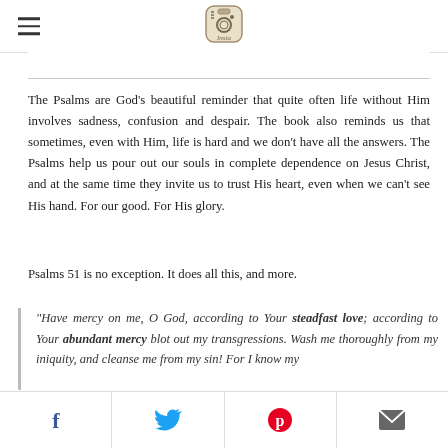[hamburger menu icon] [Instagram logo]
The Psalms are God's beautiful reminder that quite often life without Him involves sadness, confusion and despair. The book also reminds us that sometimes, even with Him, life is hard and we don't have all the answers. The Psalms help us pour out our souls in complete dependence on Jesus Christ, and at the same time they invite us to trust His heart, even when we can't see His hand. For our good. For His glory.
Psalms 51 is no exception. It does all this, and more.
"Have mercy on me, O God, according to Your steadfast love; according to Your abundant mercy blot out my transgressions. Wash me thoroughly from my iniquity, and cleanse me from my sin! For I know my
[Facebook icon] [Twitter icon] [Pinterest icon] [Email icon]